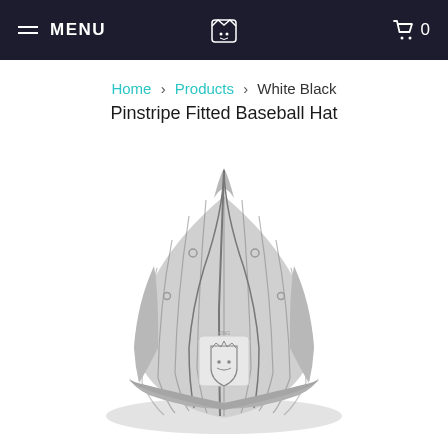MENU | [logo] | Cart 0
Home > Products > White Black Pinstripe Fitted Baseball Hat
[Figure (photo): White and black pinstripe fitted baseball hat viewed from the front, showing a lion shield logo on the front panel, with vertical pinstripes running from the crown downward.]